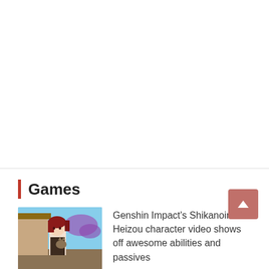Games
[Figure (illustration): Thumbnail image of Genshin Impact character Shikanoin Heizou, an anime-style character with dark red hair holding a cat, with a Japanese-style building and purple flowers in the background.]
Genshin Impact's Shikanoin Heizou character video shows off awesome abilities and passives